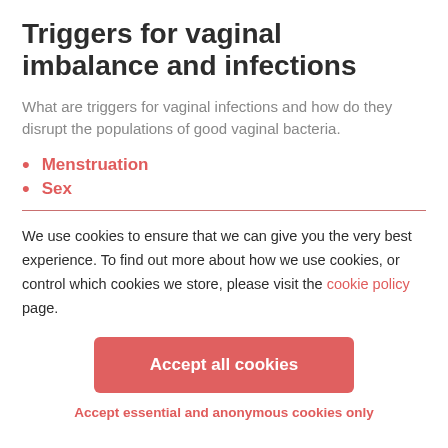Triggers for vaginal imbalance and infections
What are triggers for vaginal infections and how do they disrupt the populations of good vaginal bacteria.
Menstruation
Sex
We use cookies to ensure that we can give you the very best experience. To find out more about how we use cookies, or control which cookies we store, please visit the cookie policy page.
Accept all cookies
Accept essential and anonymous cookies only